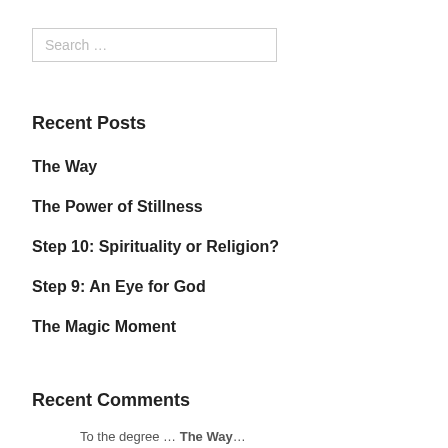Search …
Recent Posts
The Way
The Power of Stillness
Step 10: Spirituality or Religion?
Step 9: An Eye for God
The Magic Moment
Recent Comments
To the degree … The Way…